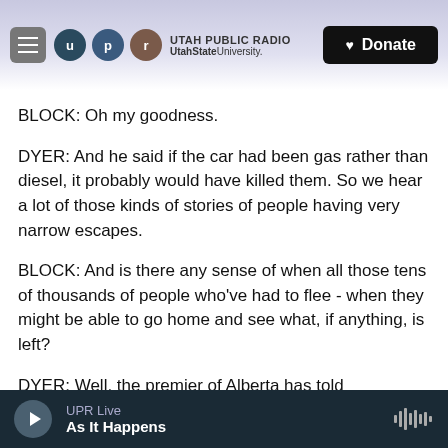[Figure (screenshot): Utah Public Radio website header with hamburger menu, UPR logo circles (u, p, r), Utah Public Radio / UtahState University text, and a black Donate button with heart icon]
BLOCK: Oh my goodness.
DYER: And he said if the car had been gas rather than diesel, it probably would have killed them. So we hear a lot of those kinds of stories of people having very narrow escapes.
BLOCK: And is there any sense of when all those tens of thousands of people who've had to flee - when they might be able to go home and see what, if anything, is left?
DYER: Well, the premier of Alberta has told
UPR Live — As It Happens